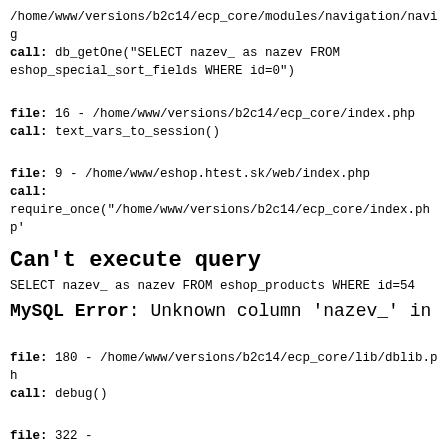/home/www/versions/b2c14/ecp_core/modules/navigation/navig
call: db_getOne("SELECT nazev_ as nazev FROM eshop_special_sort_fields WHERE id=0")
file: 16 - /home/www/versions/b2c14/ecp_core/index.php
call: text_vars_to_session()
file: 9 - /home/www/eshop.htest.sk/web/index.php
call:
require_once("/home/www/versions/b2c14/ecp_core/index.php'
Can't execute query
SELECT nazev_ as nazev FROM eshop_products WHERE id=54
MySQL Error: Unknown column 'nazev_' in 'field li
file: 180 - /home/www/versions/b2c14/ecp_core/lib/dblib.ph
call: debug()
file: 322 -
/home/www/versions/b2c14/ecp_core/modules/navigation/navig
call: db_query("SELECT nazev_ as nazev FROM eshop_products id=54")